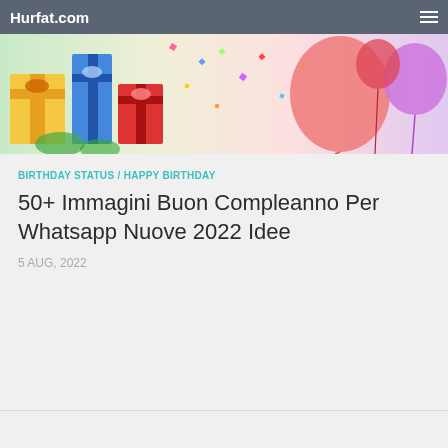Hurfat.com
[Figure (photo): Birthday celebration banner image with colorful gift boxes on the left and balloons on the right against a light festive background]
BIRTHDAY STATUS / HAPPY BIRTHDAY
50+ Immagini Buon Compleanno Per Whatsapp Nuove 2022 Idee
5 AUG, 2022